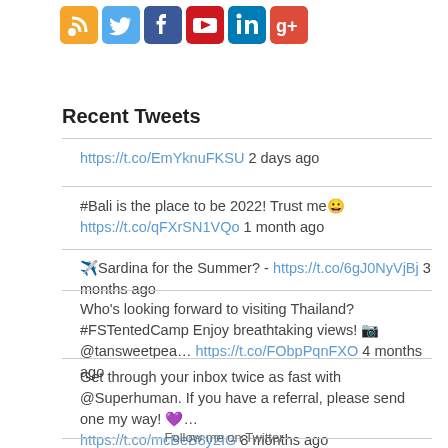[Figure (illustration): Row of social media icons: RSS, Twitter, Facebook, YouTube, LinkedIn, Google+]
Recent Tweets
https://t.co/EmYknuFKSU 2 days ago
#Bali is the place to be 2022! Trust me 😀 https://t.co/qFXrSN1VQo 1 month ago
✈️Sardina for the Summer? - https://t.co/6gJ0NyVjBj 3 months ago
Who's looking forward to visiting Thailand? #FSTentedCamp Enjoy breathtaking views! 📷@tansweetpea... https://t.co/FObpPqnFXO 4 months ago
Get through your inbox twice as fast with @Superhuman. If you have a referral, please send one my way! 💜… https://t.co/mcBeB8y2IG 8 months ago
Follow me on Twitter